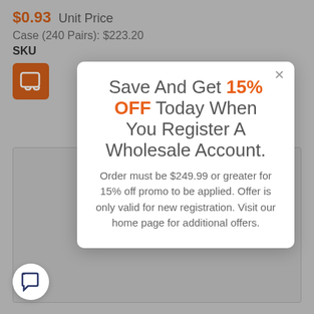$0.93 Unit Price
Case (240 Pairs): $223.20
SKU
Save And Get 15% OFF Today When You Register A Wholesale Account.
Order must be $249.99 or greater for 15% off promo to be applied. Offer is only valid for new registration. Visit our home page for additional offers.